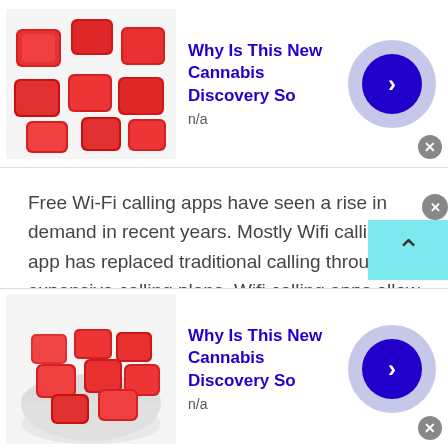[Figure (screenshot): Advertisement banner showing red gummy candies with title 'Why Is This New Cannabis Discovery So' and n/a subtitle, with blue arrow button on right]
Free Wi-Fi calling apps have seen a rise in demand in recent years. Mostly Wifi calling app has replaced traditional calling through expensive calling plans. Wifi calling apps allow people to communicate more without the naggin worry of limited call time, instead you get unimited number of calls through wifi calling app. It uses the power of internet to stream your voice to another person.
[Figure (screenshot): Advertisement banner showing red gummy candies in a bowl with title 'Why Is This New Cannabis Discovery So' and n/a subtitle, with blue arrow button on right]